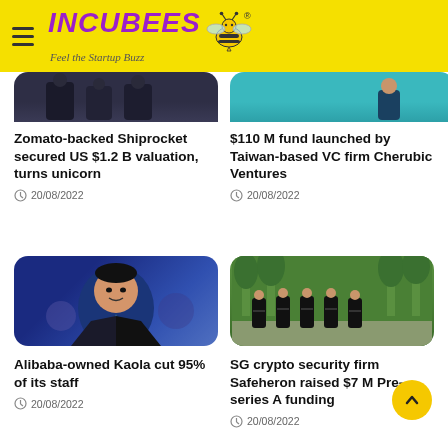INCUBEES — Feel the Startup Buzz
[Figure (photo): Partial image of people in dark suits — top of card 1]
[Figure (photo): Partial image of person on teal background — top of card 2]
Zomato-backed Shiprocket secured US $1.2 B valuation, turns unicorn
20/08/2022
$110 M fund launched by Taiwan-based VC firm Cherubic Ventures
20/08/2022
[Figure (photo): Photo of Jack Ma smiling in suit with teal tie, blue blurred background]
[Figure (photo): Photo of five men in black t-shirts standing outdoors in green park]
Alibaba-owned Kaola cut 95% of its staff
20/08/2022
SG crypto security firm Safeheron raised $7 M Pre-series A funding
20/08/2022